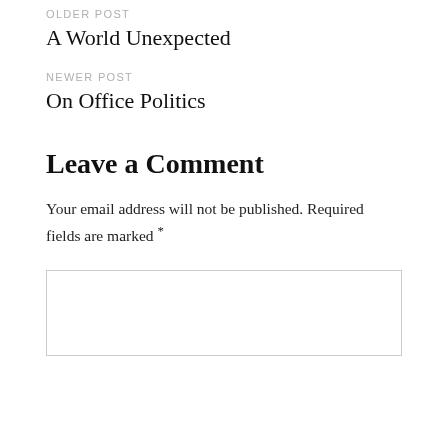OLDER POST
A World Unexpected
NEWER POST
On Office Politics
Leave a Comment
Your email address will not be published. Required fields are marked *